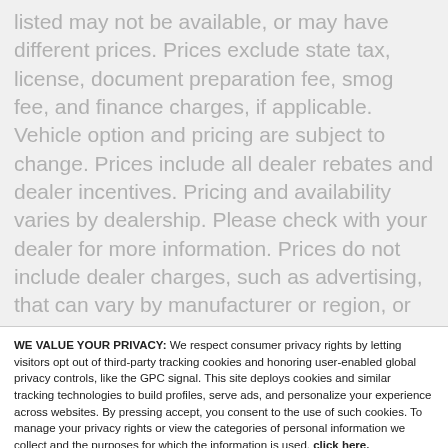listed may not be available, or may have different prices. Prices exclude state tax, license, document preparation fee, smog fee, and finance charges, if applicable. Vehicle option and pricing are subject to change. Prices include all dealer rebates and dealer incentives. Pricing and availability varies by dealership. Please check with your dealer for more information. Prices do not include dealer charges, such as advertising, that can vary by manufacturer or region, or costs for selling, preparing, displaying or financing the vehicle. Images displayed may not be representative of the actual trim level of a vehicle. Colors shown are the most accurate representations available. However, due to the limitations of web and monitor color display, we cannot guarantee that the colors depicted will
WE VALUE YOUR PRIVACY: We respect consumer privacy rights by letting visitors opt out of third-party tracking cookies and honoring user-enabled global privacy controls, like the GPC signal. This site deploys cookies and similar tracking technologies to build profiles, serve ads, and personalize your experience across websites. By pressing accept, you consent to the use of such cookies. To manage your privacy rights or view the categories of personal information we collect and the purposes for which the information is used, click here.
Language: English | Powered by ComplyAuto